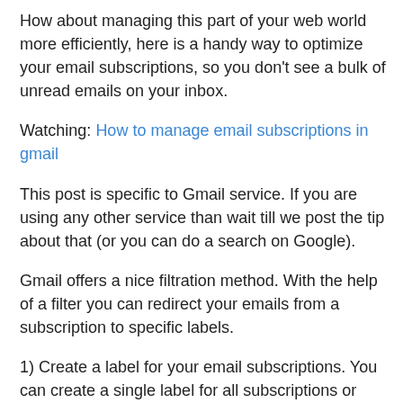How about managing this part of your web world more efficiently, here is a handy way to optimize your email subscriptions, so you don't see a bulk of unread emails on your inbox.
Watching: How to manage email subscriptions in gmail
This post is specific to Gmail service. If you are using any other service than wait till we post the tip about that (or you can do a search on Google).
Gmail offers a nice filtration method. With the help of a filter you can redirect your emails from a subscription to specific labels.
1) Create a label for your email subscriptions. You can create a single label for all subscriptions or multiple labels (like one label for each subscription)